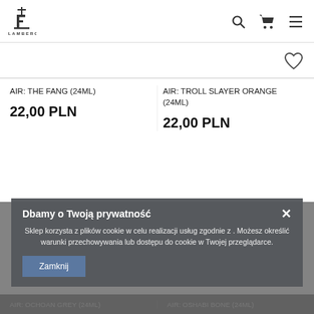[Figure (logo): Flamberg logo - stylized F with cross on top, text FLAMBERG below]
[Figure (screenshot): Search icon, shopping cart icon, and hamburger menu icon in page header]
[Figure (illustration): Heart/wishlist icon in top right area]
AIR: THE FANG (24ML)
AIR: TROLL SLAYER ORANGE (24ML)
22,00 PLN
22,00 PLN
Dbamy o Twoją prywatność
Sklep korzysta z plików cookie w celu realizacji usług zgodnie z . Możesz określić warunki przechowywania lub dostępu do cookie w Twojej przeglądarce.
Zamknij
AIR: OCHOAN GREY (24ML)
AIR: OSHABI BONE (24ML)